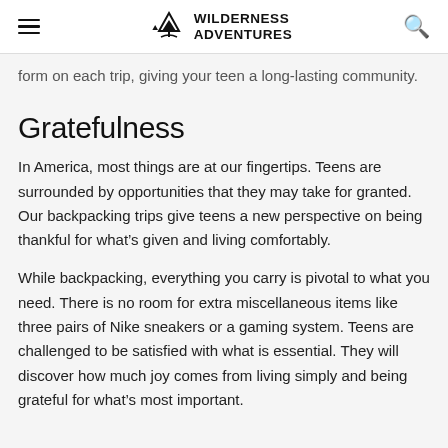WILDERNESS ADVENTURES
form on each trip, giving your teen a long-lasting community.
Gratefulness
In America, most things are at our fingertips. Teens are surrounded by opportunities that they may take for granted. Our backpacking trips give teens a new perspective on being thankful for what's given and living comfortably.
While backpacking, everything you carry is pivotal to what you need. There is no room for extra miscellaneous items like three pairs of Nike sneakers or a gaming system. Teens are challenged to be satisfied with what is essential. They will discover how much joy comes from living simply and being grateful for what's most important.